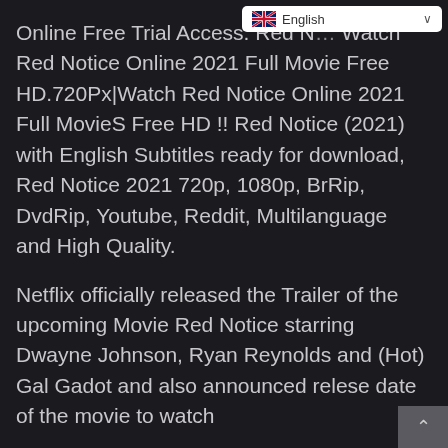[Figure (screenshot): Language selector dropdown showing UK flag and 'English' with chevron, white background]
Online Free Trial Access. Red N... Watch Red Notice Online 2021 Full Movie Free HD.720Px|Watch Red Notice Online 2021 Full MovieS Free HD !! Red Notice (2021) with English Subtitles ready for download, Red Notice 2021 720p, 1080p, BrRip, DvdRip, Youtube, Reddit, Multilanguage and High Quality.
Netflix officially released the Trailer of the upcoming Movie Red Notice starring Dwayne Johnson, Ryan Reynolds and (Hot) Gal Gadot and also announced relese date of the movie to watch
Hulu,alibaba,disney, Crunchy roll, DiscoveryGO, BBC iPlayer, etc. These are also movies or TV shows that are downloaded through online distribution